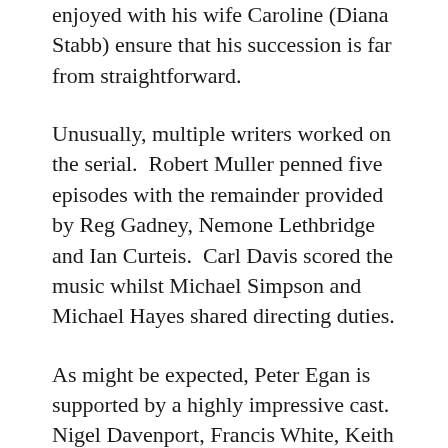enjoyed with his wife Caroline (Diana Stabb) ensure that his succession is far from straightforward.
Unusually, multiple writers worked on the serial.  Robert Muller penned five episodes with the remainder provided by Reg Gadney, Nemone Lethbridge and Ian Curteis.  Carl Davis scored the music whilst Michael Simpson and Michael Hayes shared directing duties.
As might be expected, Peter Egan is supported by a highly impressive cast.  Nigel Davenport, Francis White, Keith Barron, Clive Merrison, Susannah York, Diana Stabb, David Horovitch, Barbara Shelley, Caroline Blakiston, Murray Head, David Collings, Cheri Lunghi and Patsy